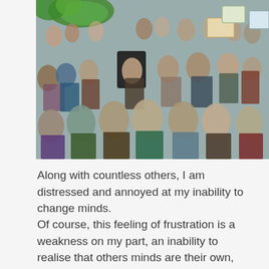[Figure (photo): A large crowd of people at an outdoor protest or demonstration. Many people are visible, some holding green banners and cardboard signs. The crowd fills the entire frame.]
Along with countless others, I am distressed and annoyed at my inability to change minds.
Of course, this feeling of frustration is a weakness on my part, an inability to realise that others minds are their own, and it is no business of mine to go in there and change anything.